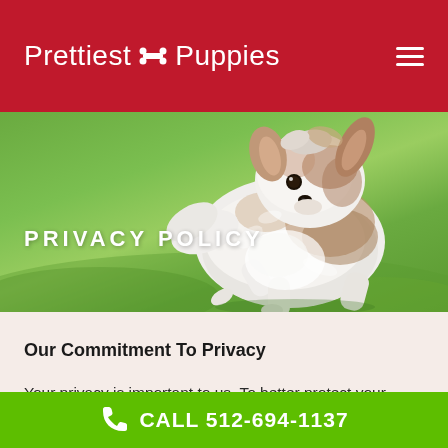Prettiest Puppies
PRIVACY POLICY
[Figure (photo): A small fluffy puppy (Shih Tzu mix) running on grass, photographed from the side-front. White and brown fur, mouth slightly open, one paw lifted.]
Our Commitment To Privacy
Your privacy is important to us. To better protect your privacy we provide this notice explaining our online information practices and the choices you can make about the way your information is collected
CALL 512-694-1137